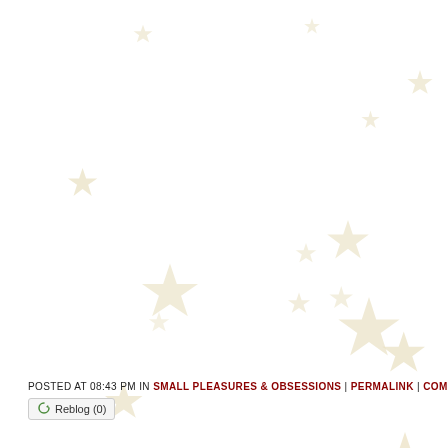[Figure (illustration): Decorative background with scattered star shapes in a light cream/beige color on a white background. Stars of various sizes are distributed across the entire page area.]
POSTED AT 08:43 PM IN SMALL PLEASURES & OBSESSIONS | PERMALINK | COMMENTS
Reblog (0)